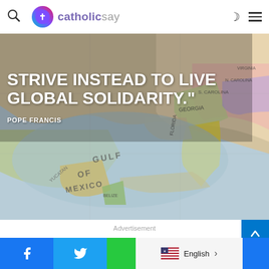catholicsay
[Figure (photo): Close-up photograph of a globe/map showing Gulf of Mexico, southeastern United States (Georgia, Florida, North Carolina, South Carolina, Virginia), Cuba, Yucatan, Belize, with quote text overlay: 'STRIVE INSTEAD TO LIVE GLOBAL SOLIDARITY.' - POPE FRANCIS]
Advertisement
Facebook share | Twitter share | English language selector